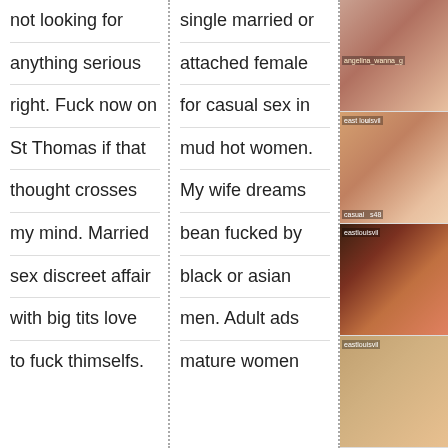not looking for anything serious right. Fuck now on St Thomas if that thought crosses my mind. Married sex discreet affair with big tits love to fuck thimselfs.
single married or attached female for casual sex in mud hot women. My wife dreams bean fucked by black or asian men. Adult ads mature women
[Figure (photo): Partial adult photo with overlay text]
[Figure (photo): Adult photo with overlay text 'eastlouisvil' and 'casual...s48']
[Figure (photo): Adult photo with overlay text 'eastlouisvil']
[Figure (photo): Adult photo with overlay text 'eastlouisvil']